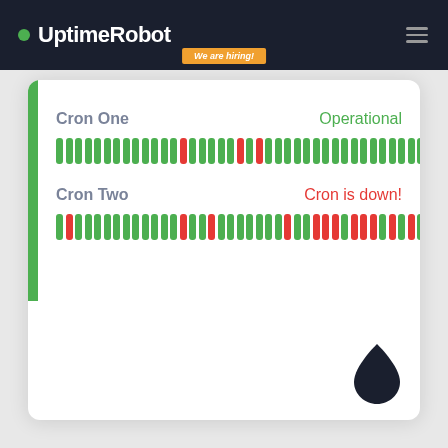UptimeRobot
We are hiring!
Cron One — Operational
[Figure (infographic): Cron One uptime bar chart showing mostly green bars with a few red bars indicating downtime events]
Cron Two — Cron is down!
[Figure (infographic): Cron Two uptime bar chart showing mix of green and red bars with more frequent downtime events]